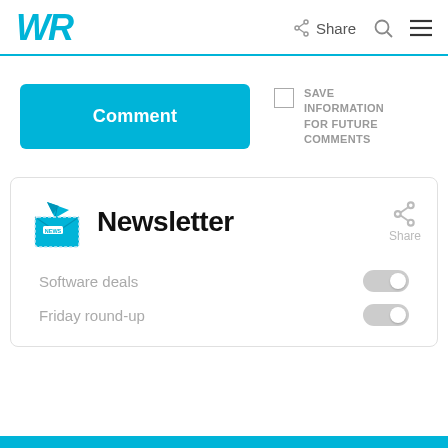[Figure (logo): WR logo in blue italic bold text]
Share
Comment
SAVE INFORMATION FOR FUTURE COMMENTS
[Figure (illustration): Blue envelope with paper plane icon representing newsletter]
Newsletter
Share
Software deals
Friday round-up